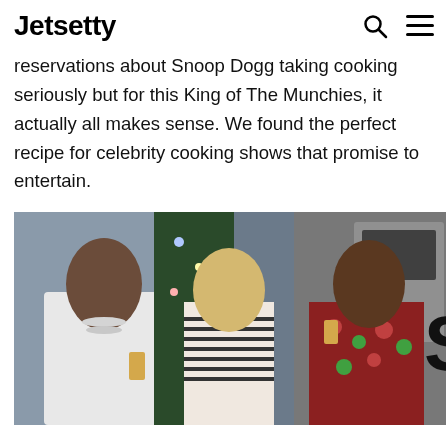Jetsetty
reservations about Snoop Dogg taking cooking seriously but for this King of The Munchies, it actually all makes sense. We found the perfect recipe for celebrity cooking shows that promise to entertain.
[Figure (photo): Three people standing in a kitchen set — Snoop Dogg in white sweater holding a drink on left, a blonde woman in striped top in the center, and a man in floral shirt drinking on the right. A Christmas tree is visible in the background along with kitchen appliances.]